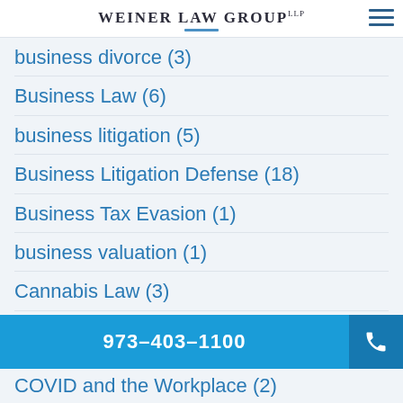WEINER LAW GROUP LLP
business divorce (3)
Business Law (6)
business litigation (5)
Business Litigation Defense (18)
Business Tax Evasion (1)
business valuation (1)
Cannabis Law (3)
cannabis law attorney (1)
Child Custody (18)
Child Support (13)
Civil Litigation Defense (8)
973-403-1100
COVID and the Workplace (2)